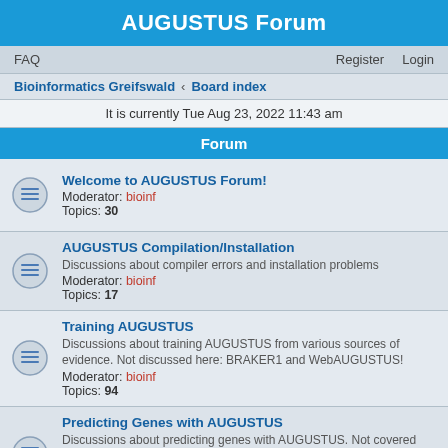AUGUSTUS Forum
FAQ  Register  Login
Bioinformatics Greifswald  Board index
It is currently Tue Aug 23, 2022 11:43 am
Forum
Welcome to AUGUSTUS Forum!
Moderator: bioinf
Topics: 30
AUGUSTUS Compilation/Installation
Discussions about compiler errors and installation problems
Moderator: bioinf
Topics: 17
Training AUGUSTUS
Discussions about training AUGUSTUS from various sources of evidence. Not discussed here: BRAKER1 and WebAUGUSTUS!
Moderator: bioinf
Topics: 94
Predicting Genes with AUGUSTUS
Discussions about predicting genes with AUGUSTUS. Not covered here: WebAUGUSTUS and BRAKER1
Moderator: bioinf
Topics: 100
WebAUGUSTUS